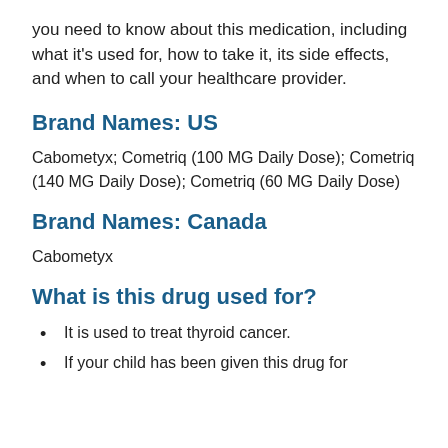you need to know about this medication, including what it's used for, how to take it, its side effects, and when to call your healthcare provider.
Brand Names: US
Cabometyx; Cometriq (100 MG Daily Dose); Cometriq (140 MG Daily Dose); Cometriq (60 MG Daily Dose)
Brand Names: Canada
Cabometyx
What is this drug used for?
It is used to treat thyroid cancer.
If your child has been given this drug for